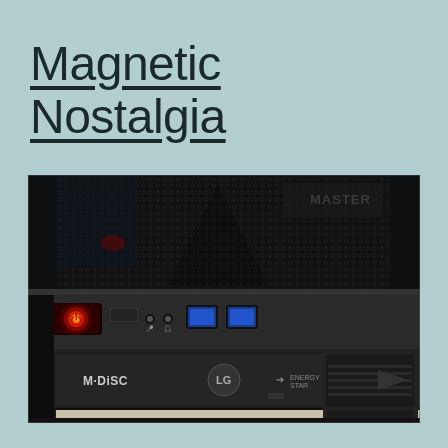Magnetic Nostalgia
[Figure (photo): Close-up photograph of a desktop computer tower front panel showing a Cooler Master case with mesh ventilation at top, a red power button, USB 3.0 ports, audio jacks, an LG M-DISC optical drive, and a beige floppy disk drive below it. Various drive bays visible on the right side.]